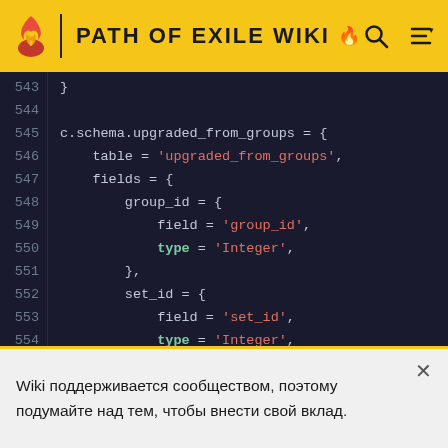PATH OF EXILE WIKI
[Figure (screenshot): Code editor screenshot showing lines 543–558 of Lua/table schema definition for upgraded_from_groups with fields group_id (Integer), set_id (Integer), item_id (String)]
Wiki поддерживается сообществом, поэтому подумайте над тем, чтобы внести свой вклад.